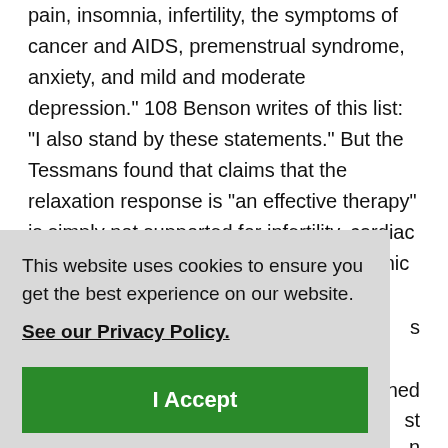pain, insomnia, infertility, the symptoms of cancer and AIDS, premenstrual syndrome, anxiety, and mild and moderate depression." 108 Benson writes of this list: "I also stand by these statements." But the Tessmans found that claims that the relaxation response is "an effective therapy" is simply not supported for infertility, cardiac rhythm irregularities, insomnia, and chronic pain. The meta-analyses
ned st n
s
This website uses cookies to ensure you get the best experience on our website. See our Privacy Policy. I Accept